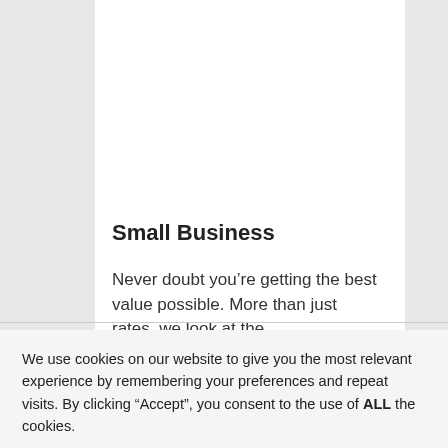Small Business
Never doubt you’re getting the best value possible. More than just rates, we look at the
We use cookies on our website to give you the most relevant experience by remembering your preferences and repeat visits. By clicking “Accept”, you consent to the use of ALL the cookies.
Cookie settings
ACCEPT